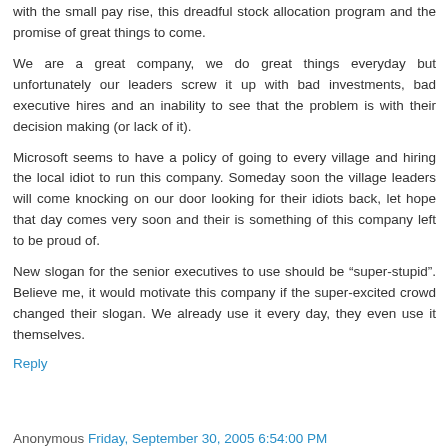with the small pay rise, this dreadful stock allocation program and the promise of great things to come.
We are a great company, we do great things everyday but unfortunately our leaders screw it up with bad investments, bad executive hires and an inability to see that the problem is with their decision making (or lack of it).
Microsoft seems to have a policy of going to every village and hiring the local idiot to run this company. Someday soon the village leaders will come knocking on our door looking for their idiots back, let hope that day comes very soon and their is something of this company left to be proud of.
New slogan for the senior executives to use should be “super-stupid”. Believe me, it would motivate this company if the super-excited crowd changed their slogan. We already use it every day, they even use it themselves.
Reply
Anonymous Friday, September 30, 2005 6:54:00 PM